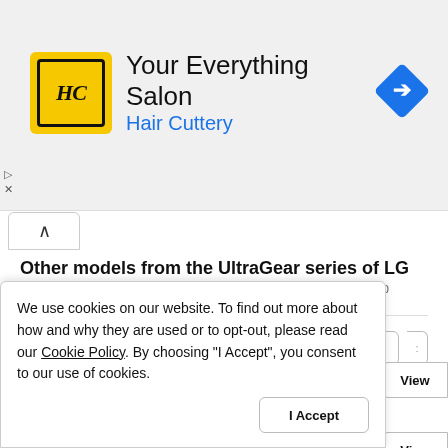[Figure (screenshot): Hair Cuttery advertisement banner with HC logo on yellow background, salon name 'Your Everything Salon' and 'Hair Cuttery' subtitle, navigation arrow icon on right, with play and close controls on left side]
Other models from the UltraGear series of LG
List of other models from the same LG series, to which the LG 32GQ950 belongs.
47.6" LG 48GQ900, OLED, 3840 x 2160 pixels, 40 Hz - 138
We use cookies on our website. To find out more about how and why they are used or to opt-out, please read our Cookie Policy. By choosing "I Accept", you consent to our use of cookies.